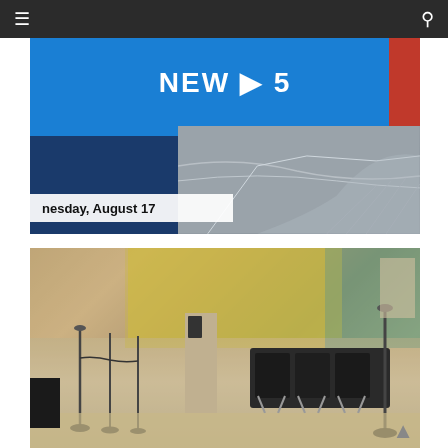[Figure (screenshot): Mobile website navigation bar with hamburger menu icon on left and search icon on right, dark background]
[Figure (screenshot): News in 5 video thumbnail collage showing aerial city/coastline view in black and white, blue branded panels, date overlay reading 'nesday, August 17']
[Figure (photo): Airport terminal interior with rows of black seating, stanchion barriers, yellow-tinted windows in background, terrazzo floor]